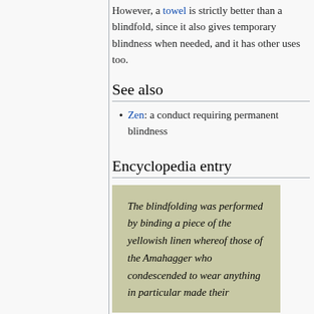However, a towel is strictly better than a blindfold, since it also gives temporary blindness when needed, and it has other uses too.
See also
Zen: a conduct requiring permanent blindness
Encyclopedia entry
[Figure (other): Tan/olive colored box containing italic encyclopedia text: 'The blindfolding was performed by binding a piece of the yellowish linen whereof those of the Amahagger who condescended to wear anything in particular made their...']